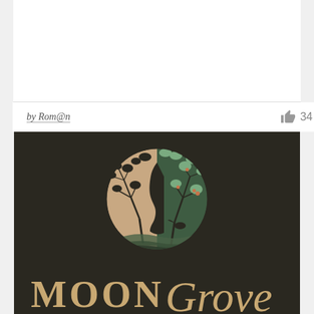by Rom@n
34
[Figure (logo): Moon Grove logo: circular emblem on dark background featuring a woman's profile face merged with a tree, left half in peach/tan tones (bare tree branches), right half in sage green (leafy tree with berries). Below the circle are layered wave/hill shapes. Below the emblem, the brand name 'MOON Grove' in large serif/script display type in muted gold/tan color, on a dark olive/charcoal background.]